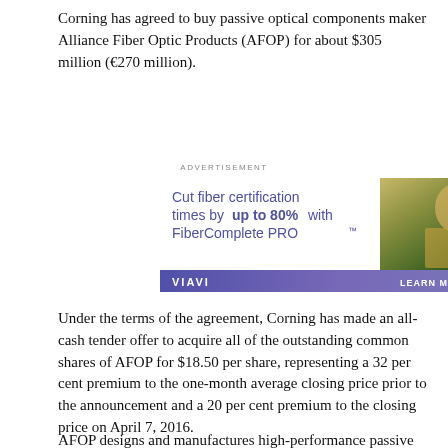Corning has agreed to buy passive optical components maker Alliance Fiber Optic Products (AFOP) for about $305 million (€270 million).
[Figure (infographic): VIAVI advertisement banner: 'Cut fiber certification times by up to 80% with FiberComplete PRO™' with image of technician using handheld device, and LEARN MORE call-to-action button]
Under the terms of the agreement, Corning has made an all-cash tender offer to acquire all of the outstanding common shares of AFOP for $18.50 per share, representing a 32 per cent premium to the one-month average closing price prior to the announcement and a 20 per cent premium to the closing price on April 7, 2016.
AFOP designs and manufactures high-performance passive optical components used by datacom and